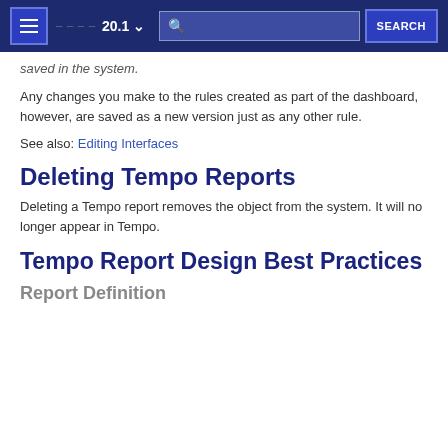20.1 SEARCH
saved in the system.
Any changes you make to the rules created as part of the dashboard, however, are saved as a new version just as any other rule.
See also: Editing Interfaces
Deleting Tempo Reports
Deleting a Tempo report removes the object from the system. It will no longer appear in Tempo.
Tempo Report Design Best Practices
Report Definition